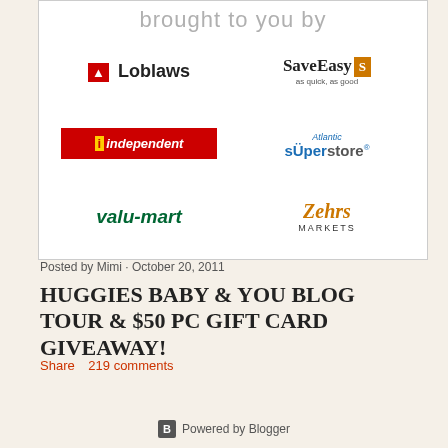[Figure (illustration): Promotional image with 'brought to you by' heading and six grocery store brand logos: Loblaws, SaveEasy, Independent, Atlantic Superstore, valu-mart, Zehrs Markets]
Posted by Mimi · October 20, 2011
HUGGIES BABY & YOU BLOG TOUR & $50 PC GIFT CARD GIVEAWAY!
Share   219 comments
Powered by Blogger